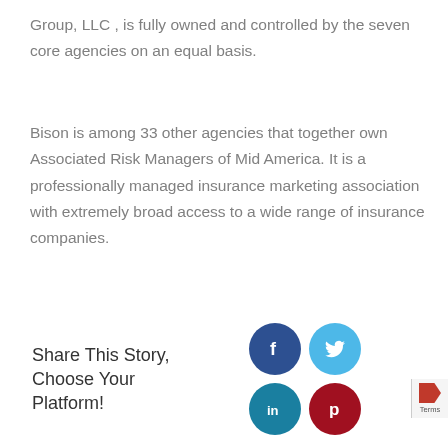Group, LLC , is fully owned and controlled by the seven core agencies on an equal basis.
Bison is among 33 other agencies that together own Associated Risk Managers of Mid America. It is a professionally managed insurance marketing association with extremely broad access to a wide range of insurance companies.
Share This Story, Choose Your Platform!